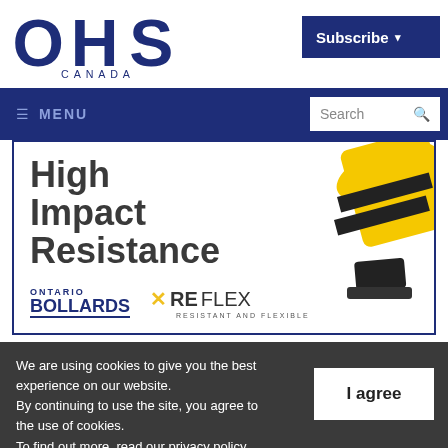[Figure (logo): OHS Canada logo — large bold dark navy letters OHS with CANADA in smaller spaced text below]
Subscribe ▾
≡ MENU
Search 🔍
[Figure (illustration): Advertisement banner: 'High Impact Resistance' with image of yellow and black bollards on right side. Ontario Bollards logo and REFLEX RESISTANT AND FLEXIBLE logo at bottom.]
We are using cookies to give you the best experience on our website. By continuing to use the site, you agree to the use of cookies. To find out more, read our privacy policy.
I agree